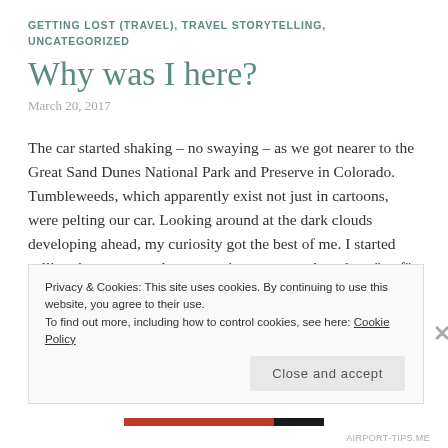GETTING LOST (TRAVEL), TRAVEL STORYTELLING, UNCATEGORIZED
Why was I here?
March 20, 2017
The car started shaking – no swaying – as we got nearer to the Great Sand Dunes National Park and Preserve in Colorado. Tumbleweeds, which apparently exist not just in cartoons, were pelting our car. Looking around at the dark clouds developing ahead, my curiosity got the best of me. I started calling the company that was going to rent us boards to “surf” down the dunes. The man on the phone, ever so
Privacy & Cookies: This site uses cookies. By continuing to use this website, you agree to their use.
To find out more, including how to control cookies, see here: Cookie Policy
Close and accept